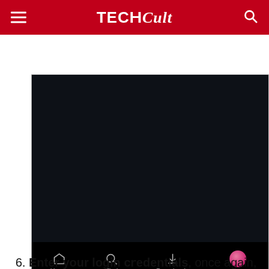TECHCult
[Figure (screenshot): Mobile app screenshot showing a dark screen with a bottom navigation bar containing Home, Find, Downloads, and My Stuff (active/highlighted) tabs on a black background.]
6. Enter your login credentials, once again, to verify your identity.